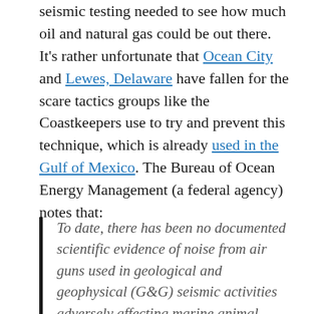seismic testing needed to see how much oil and natural gas could be out there. It's rather unfortunate that Ocean City and Lewes, Delaware have fallen for the scare tactics groups like the Coastkeepers use to try and prevent this technique, which is already used in the Gulf of Mexico. The Bureau of Ocean Energy Management (a federal agency) notes that:
To date, there has been no documented scientific evidence of noise from air guns used in geological and geophysical (G&G) seismic activities adversely affecting marine animal populations or coastal communities. This technology has been used for